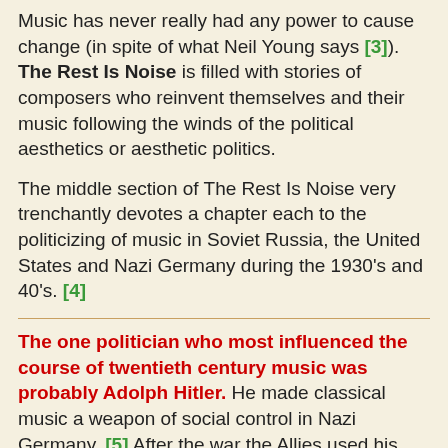Music has never really had any power to cause change (in spite of what Neil Young says [3]). The Rest Is Noise is filled with stories of composers who reinvent themselves and their music following the winds of the political aesthetics or aesthetic politics.
The middle section of The Rest Is Noise very trenchantly devotes a chapter each to the politicizing of music in Soviet Russia, the United States and Nazi Germany during the 1930's and 40's. [4]
The one politician who most influenced the course of twentieth century music was probably Adolph Hitler. He made classical music a weapon of social control in Nazi Germany. [5] After the war the Allies used his own weapon to help denazify the country. [6]
In the 50s a new enemy was agreed upon and the U.S. turned our musical firepower against the Soviets. Secret CIA money funded parts of the European avant-garde during the Cold War. This was supposed to show the rest of the world how the West enjoyed greater freedom. [7]